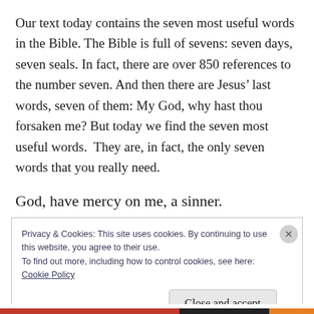Our text today contains the seven most useful words in the Bible. The Bible is full of sevens: seven days, seven seals. In fact, there are over 850 references to the number seven. And then there are Jesus’ last words, seven of them: My God, why hast thou forsaken me? But today we find the seven most useful words.  They are, in fact, the only seven words that you really need.
God, have mercy on me, a sinner.
Privacy & Cookies: This site uses cookies. By continuing to use this website, you agree to their use.
To find out more, including how to control cookies, see here: Cookie Policy